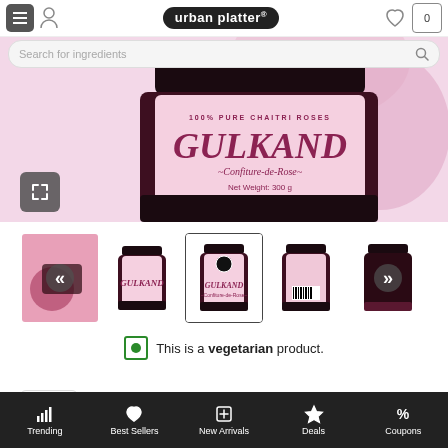[Figure (screenshot): Urban Platter e-commerce app screenshot showing a Gulkand (Confiture-de-Rose) product page with navigation bar, search bar, main product image of a jar labeled GULKAND 100% Pure Chaitri Roses, product thumbnail gallery, vegetarian product notice, and bottom navigation bar with Trending, Best Sellers, New Arrivals, Deals, Coupons.]
This is a vegetarian product.